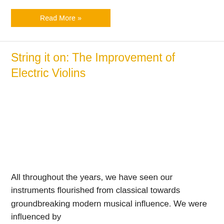Read More »
String it on: The Improvement of Electric Violins
All throughout the years, we have seen our instruments flourished from classical towards groundbreaking modern musical influence. We were influenced by